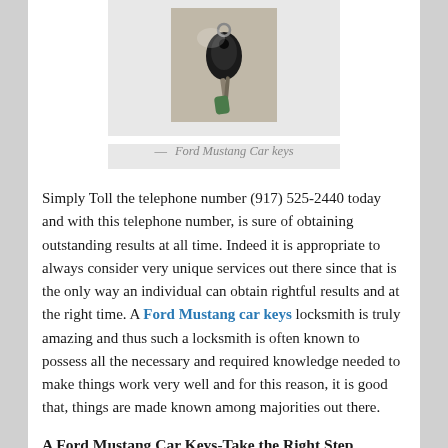[Figure (photo): Photo of Ford Mustang car keys hanging, shown from above against a light background]
— Ford Mustang Car keys
Simply Toll the telephone number (917) 525-2440 today and with this telephone number, is sure of obtaining outstanding results at all time. Indeed it is appropriate to always consider very unique services out there since that is the only way an individual can obtain rightful results and at the right time. A Ford Mustang car keys locksmith is truly amazing and thus such a locksmith is often known to possess all the necessary and required knowledge needed to make things work very well and for this reason, it is good that, things are made known among majorities out there.
A Ford Mustang Car Keys-Take the Right Step
A Ford Mustang car keys locksmith is truly amazing and